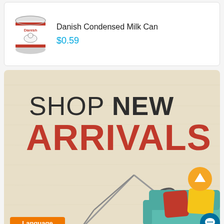[Figure (photo): Product card showing Danish Condensed Milk Can with product image on left, title and price on right]
Danish Condensed Milk Can
$0.59
[Figure (illustration): Promotional banner with beige wood-grain background reading SHOP NEW ARRIVALS in large text, with a desk lamp and teal sofa with coloured cushions, an orange up-arrow button, and a teal chat button. Orange Language button in bottom left.]